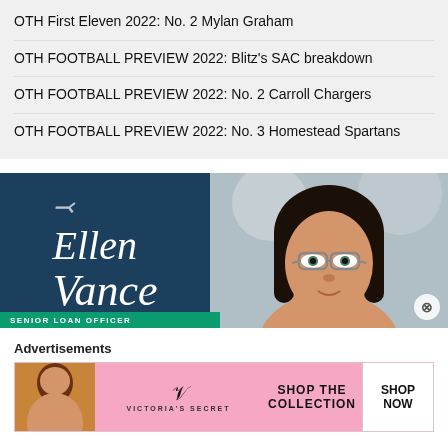OTH First Eleven 2022: No. 2 Mylan Graham
OTH FOOTBALL PREVIEW 2022: Blitz's SAC breakdown
OTH FOOTBALL PREVIEW 2022: No. 2 Carroll Chargers
OTH FOOTBALL PREVIEW 2022: No. 3 Homestead Spartans
[Figure (photo): Advertisement banner for Ellen Vance, Senior Loan Officer, showing her name in italic cursive on dark teal background beside a professional headshot photo of a woman with glasses and dark hair]
Advertisements
[Figure (photo): Victoria's Secret advertisement on pink background with model photo on left, Victoria's Secret logo in center with text 'SHOP THE COLLECTION', and white 'SHOP NOW' button on right]